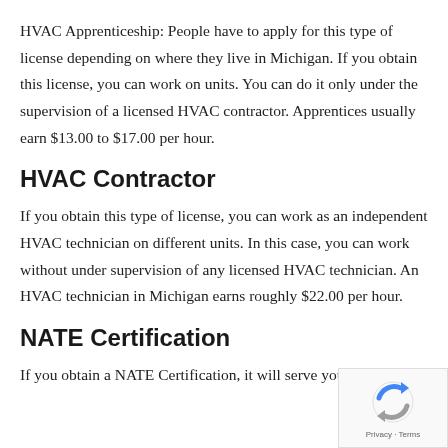HVAC Apprenticeship: People have to apply for this type of license depending on where they live in Michigan. If you obtain this license, you can work on units. You can do it only under the supervision of a licensed HVAC contractor. Apprentices usually earn $13.00 to $17.00 per hour.
HVAC Contractor
If you obtain this type of license, you can work as an independent HVAC technician on different units. In this case, you can work without under supervision of any licensed HVAC technician. An HVAC technician in Michigan earns roughly $22.00 per hour.
NATE Certification
If you obtain a NATE Certification, it will serve you as proof that